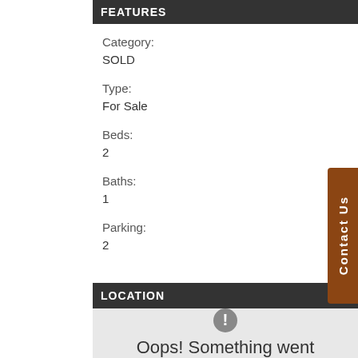FEATURES
Category:
SOLD
Type:
For Sale
Beds:
2
Baths:
1
Parking:
2
LOCATION
[Figure (other): Map error state with exclamation icon and 'Oops! Something went' text on grey background]